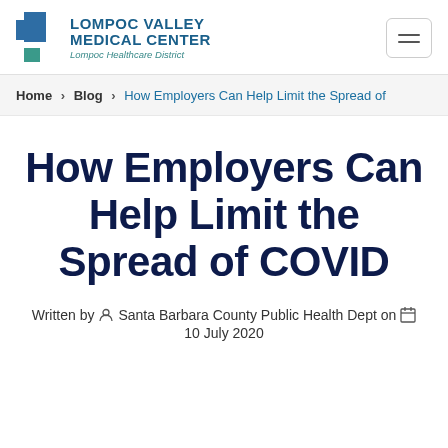[Figure (logo): Lompoc Valley Medical Center logo with blue and teal geometric shapes and text 'LOMPOC VALLEY MEDICAL CENTER — Lompoc Healthcare District']
Home > Blog > How Employers Can Help Limit the Spread of
How Employers Can Help Limit the Spread of COVID
Written by Santa Barbara County Public Health Dept on 10 July 2020